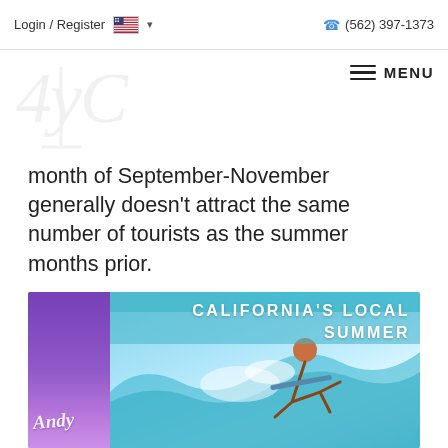Login / Register  🇺🇸 ▾   (562) 397-1373
[Figure (logo): Andy C stylized script logo watermark in light gray]
≡ MENU
month of September-November generally doesn't attract the same number of tourists as the summer months prior.
[Figure (photo): Promotional image for California's Local Summer featuring a surfer riding a wave with teal water and blue sky. Text overlay reads CALIFORNIA'S LOCAL SUMMER. Andy signature logo on left side with purple gradient background.]